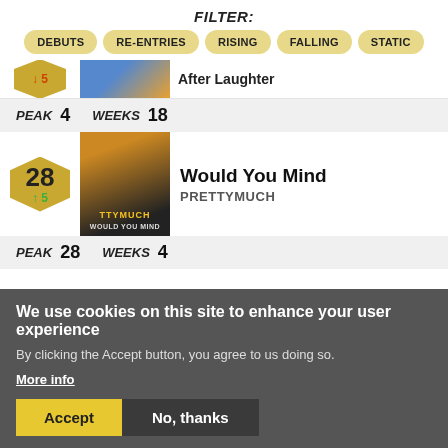FILTER:
DEBUTS
RE-ENTRIES
RISING
FALLING
STATIC
After Laughter  ↓5
PEAK 4  WEEKS 18
Would You Mind
PRETTYMUCH
28 ↑5
PEAK 28  WEEKS 4
We use cookies on this site to enhance your user experience
By clicking the Accept button, you agree to us doing so.
More info
Accept  No, thanks